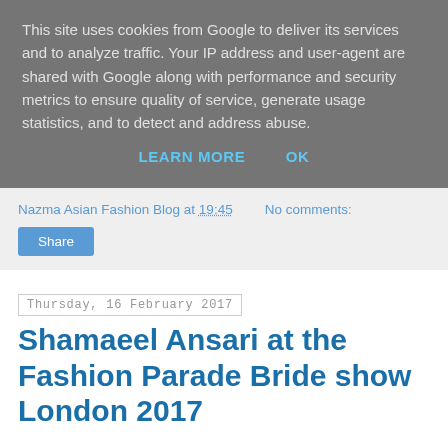This site uses cookies from Google to deliver its services and to analyze traffic. Your IP address and user-agent are shared with Google along with performance and security metrics to ensure quality of service, generate usage statistics, and to detect and address abuse.
LEARN MORE   OK
Nazma Asian Fashion Blog at 19:45   No comments:
Share
Thursday, 16 February 2017
Shamaeel Ansari at the Fashion Parade Bride show London 2017
When I was looking through all the pics from the Fashion Parade Bride show, This collection was a real stand out for me at the Fashion Parade Bride show, so I felt it deserved it's own post!